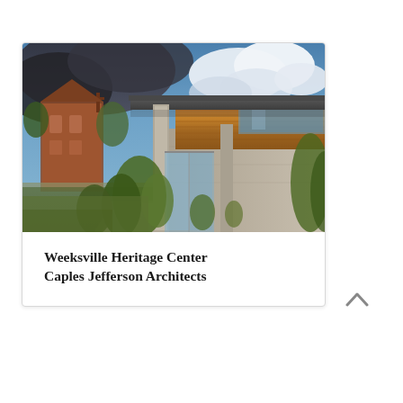[Figure (photo): Exterior photograph of the Weeksville Heritage Center building showing a modern structure with concrete columns, wood cladding on the upper level, glass windows, and lush green vegetation in the foreground. A brick church building is visible in the background left. The sky is dramatic with dark and white clouds.]
Weeksville Heritage Center
Caples Jefferson Architects